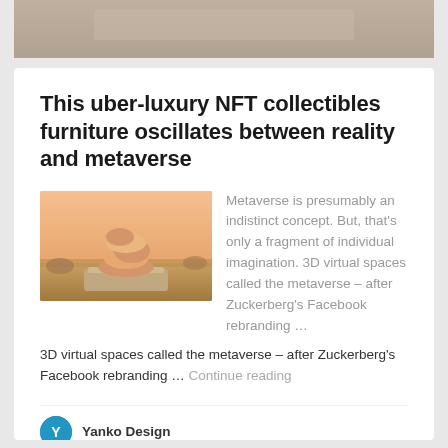[Figure (photo): Top portion of an article image showing a tan/beige textured background, partially visible]
This uber-luxury NFT collectibles furniture oscillates between reality and metaverse
[Figure (photo): Photo of sculpted organic furniture pieces resembling stacked rounded forms, placed on a stone pedestal in a dry grassy field under a warm sunset sky]
Metaverse is presumably an indistinct concept. But, that's only a fragment of individual imagination. 3D virtual spaces called the metaverse – after Zuckerberg's Facebook rebranding … Continue reading
Yanko Design